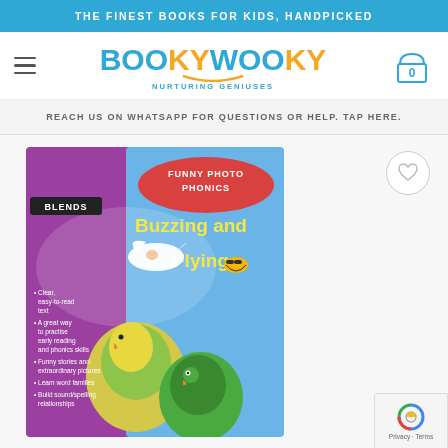THE FINEST BOOKS FOR KIDS, HANDPICKED
[Figure (logo): BookyWooky logo with shopping cart icon and hamburger menu]
REACH US ON WHATSAPP FOR QUESTIONS OR HELP. TAP HERE.
[Figure (photo): Book cover: Funny Photo Phonics - Blends: Buzzing and Flying. Shows parrots and a bee. Bullet points: Clear, easy-to-read text; A great way to practise early reading and phonics skills; Funny stories and extraordinary pictures; Learn word families; Build sound/spelling relationships]